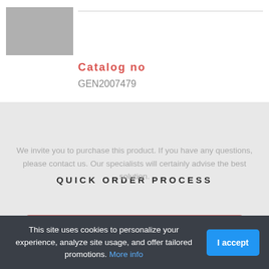[Figure (other): Grey square product image placeholder]
Catalog no
GEN2007479
QUICK ORDER PROCESS
We invite you to purchase this product. If you have any questions, please contact us. Our specialists will certainly advise the best solution.
BUY ON GENTAUR.COM FOR 525.00
This site uses cookies to personalize your experience, analyze site usage, and offer tailored promotions. More info